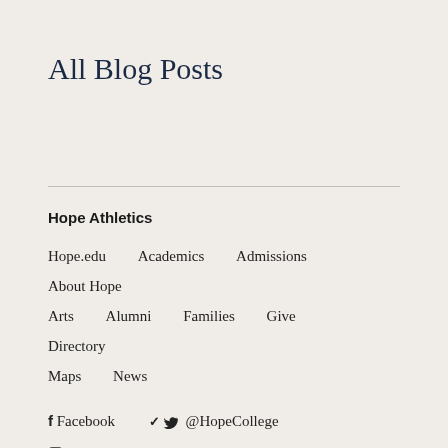All Blog Posts
Hope Athletics
Hope.edu   Academics   Admissions   About Hope
Arts   Alumni   Families   Give   Directory
Maps   News
f Facebook   @HopeCollege   Instagram
YouTube